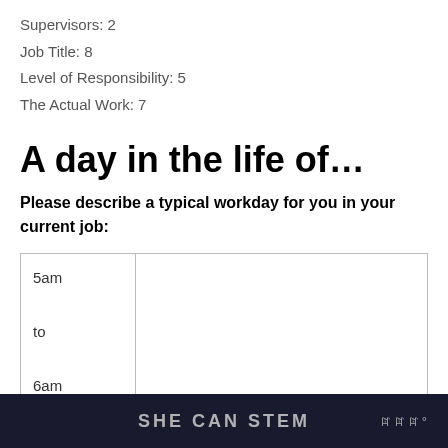Supervisors: 2
Job Title: 8
Level of Responsibility: 5
The Actual Work: 7
A day in the life of…
Please describe a typical workday for you in your current job:
| 5am

to

6am |  |
| 6am

to

7am |  |
SHE CAN STEM